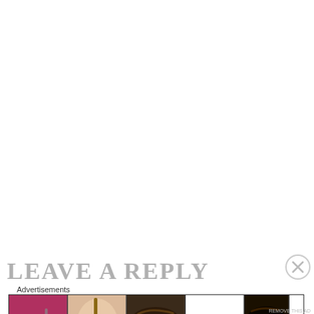Leave a Reply
Advertisements
[Figure (illustration): Ulta Beauty advertisement banner showing beauty images: red lips with makeup brush, eye with dramatic makeup, Ulta Beauty logo, dark smoky eye, and Shop Now call-to-action text]